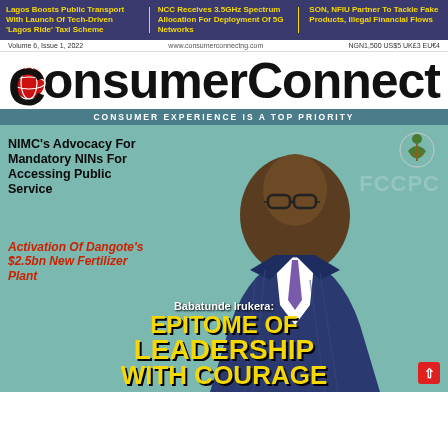Lagos Boosts Public Transport With Launch Of Tech-Driven 'Lagos Ride' Taxi Scheme | NCC Receives 3.5GHz Spectrum Allocation For Deployment Of 5G Networks | SON, NFIU Partner To Tackle Fake Products, Illegal Financial Flows
Volume 6, Issue 1, 2022   www.consumerconnectng.com   NGN1,500 US$5 UK£3 EU€4
ConsumerConnect
CONSUMER EXPERIENCE IS A TOP PRIORITY
[Figure (photo): Magazine cover photo of Babatunde Irukera in a blue striped suit with glasses, seated, with FCCPC logo in background on teal/mint background]
NIMC's Advocacy For Mandatory NINs For Accessing Public Service
Activation Of Dangote's $2.5bn New Fertilizer Plant
Babatunde Irukera: EPITOME OF LEADERSHIP WITH COURAGE